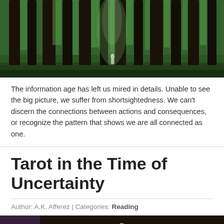[Figure (photo): A lush green forest with tall tree trunks and a small figure in white walking along a path in the background]
The information age has left us mired in details. Unable to see the big picture, we suffer from shortsightedness. We can't discern the connections between actions and consequences, or recognize the pattern that shows we are all connected as one.
Tarot in the Time of Uncertainty
Author: A.K. Afferez | Categories: Reading
[Figure (photo): A spread of tarot cards fanned out on a dark surface, showing illustrated card faces including one with a figure labeled 'The Lovers']